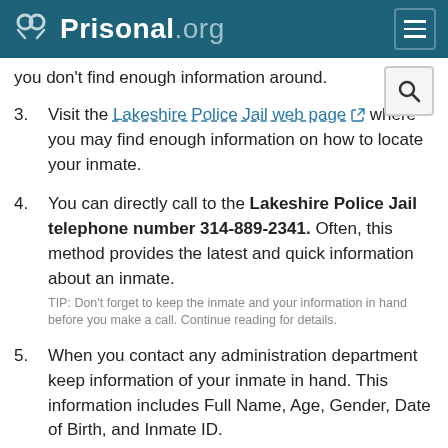Prisonal.org
you don't find enough information around.
Visit the Lakeshire Police Jail web page where you may find enough information on how to locate your inmate.
You can directly call to the Lakeshire Police Jail telephone number 314-889-2341. Often, this method provides the latest and quick information about an inmate. TIP: Don't forget to keep the inmate and your information in hand before you make a call. Continue reading for details.
When you contact any administration department keep information of your inmate in hand. This information includes Full Name, Age, Gender, Date of Birth, and Inmate ID.
You should also keep your personal information in